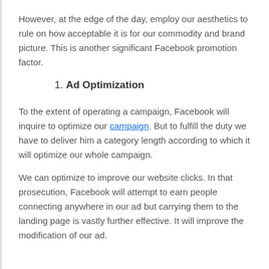However, at the edge of the day, employ our aesthetics to rule on how acceptable it is for our commodity and brand picture. This is another significant Facebook promotion factor.
1. Ad Optimization
To the extent of operating a campaign, Facebook will inquire to optimize our campaign. But to fulfill the duty we have to deliver him a category length according to which it will optimize our whole campaign.
We can optimize to improve our website clicks. In that prosecution, Facebook will attempt to earn people connecting anywhere in our ad but carrying them to the landing page is vastly further effective. It will improve the modification of our ad.